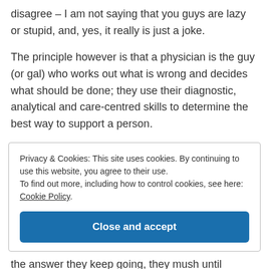disagree – I am not saying that you guys are lazy or stupid, and, yes, it really is just a joke.
The principle however is that a physician is the guy (or gal) who works out what is wrong and decides what should be done; they use their diagnostic, analytical and care-centred skills to determine the best way to support a person.
Privacy & Cookies: This site uses cookies. By continuing to use this website, you agree to their use.
To find out more, including how to control cookies, see here: Cookie Policy
[Close and accept button]
the answer they keep going, they mush until something